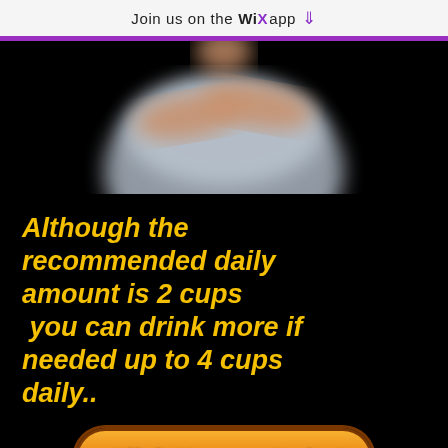Join us on the WiX app ↓
[Figure (photo): Blurred/censored photo of a person with arms crossed over their torso, shown from neck down, on a black background.]
Although the recommended daily amount is 2 cups you can drink more if needed up to 4 cups daily..
Click Here to Order!